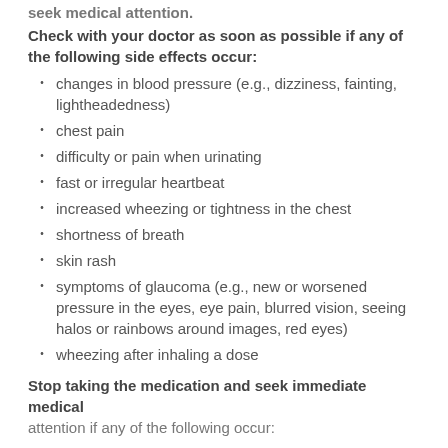seek medical attention.
Check with your doctor as soon as possible if any of the following side effects occur:
changes in blood pressure (e.g., dizziness, fainting, lightheadedness)
chest pain
difficulty or pain when urinating
fast or irregular heartbeat
increased wheezing or tightness in the chest
shortness of breath
skin rash
symptoms of glaucoma (e.g., new or worsened pressure in the eyes, eye pain, blurred vision, seeing halos or rainbows around images, red eyes)
wheezing after inhaling a dose
Stop taking the medication and seek immediate medical attention if any of the following occur: